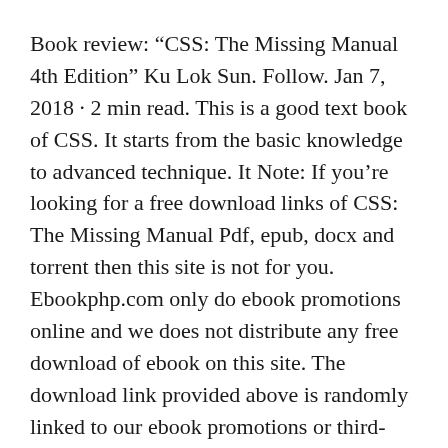Book review: “CSS: The Missing Manual 4th Edition” Ku Lok Sun. Follow. Jan 7, 2018 · 2 min read. This is a good text book of CSS. It starts from the basic knowledge to advanced technique. It Note: If you’re looking for a free download links of CSS: The Missing Manual Pdf, epub, docx and torrent then this site is not for you. Ebookphp.com only do ebook promotions online and we does not distribute any free download of ebook on this site. The download link provided above is randomly linked to our ebook promotions or third-party advertisements and not to download the ebook that we reviewed. We ...
the missing manual 3rd edition PDF may not